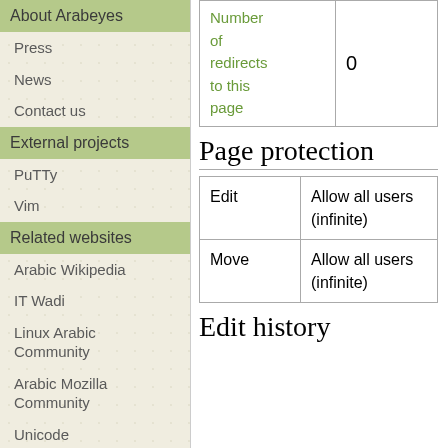About Arabeyes
Press
News
Contact us
External projects
PuTTy
Vim
Related websites
Arabic Wikipedia
IT Wadi
Linux Arabic Community
Arabic Mozilla Community
Unicode
Arabic Speech Corpus
|  |  |
| --- | --- |
| Number of redirects to this page | 0 |
Page protection
|  |  |
| --- | --- |
| Edit | Allow all users (infinite) |
| Move | Allow all users (infinite) |
Edit history